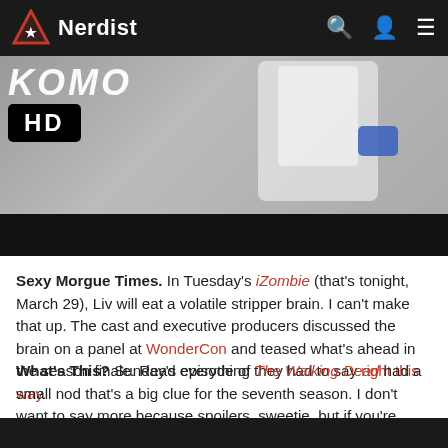Nerdist
[Figure (photo): Nerdist website header with logo, search, user, and menu icons on dark background. Below is a hero image showing a person in a white lab coat with blue gloves in what appears to be a morgue or lab setting. A KOMO HD channel badge is visible.]
Sexy Morgue Times. In Tuesday's iZombie (that's tonight, March 29), Liv will eat a volatile stripper brain. I can't make that up. The cast and executive producers discussed the brain on a panel at WonderCon and teased what's ahead in the season finale. Read everything they had to say right this way.
What's This? Sunday's episode of The Walking Dead had a small nod that's a big clue for the seventh season. I don't want to say more because spoilers, sweetie, but if you're dying to learn all about it, read Dan's rundown.